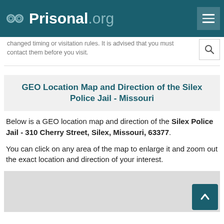Prisonal.org
changed timing or visitation rules. It is advised that you must contact them before you visit.
GEO Location Map and Direction of the Silex Police Jail - Missouri
Below is a GEO location map and direction of the Silex Police Jail - 310 Cherry Street, Silex, Missouri, 63377.
You can click on any area of the map to enlarge it and zoom out the exact location and direction of your interest.
[Figure (map): GEO location map of Silex Police Jail, partially visible at bottom of page]